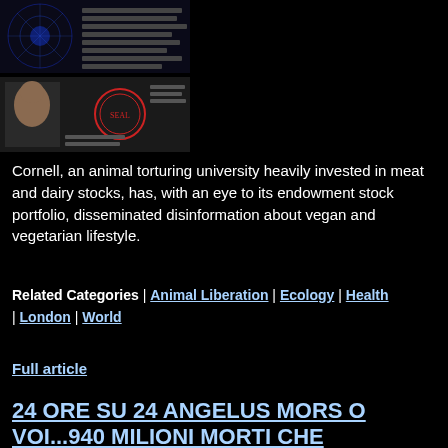[Figure (photo): Two stacked document/photo images on dark background. Top image shows a blue brain/neural graphic with text. Bottom image shows a person's portrait photo and a university seal/logo.]
Cornell, an animal torturing university heavily invested in meat and dairy stocks, has, with an eye to its endowment stock portfolio, disseminated disinformation about vegan and vegetarian lifestyle.
Related Categories | Animal Liberation | Ecology | Health | London | World
Full article
24 ORE SU 24 ANGELUS MORS O VOI...940 MILIONI MORTI CHE CAMMINANO ...OGNI GIOR
23-01-2016 10:37
CONCILIO DI TRENTO SI RAFFORZA, VIGILANZA E